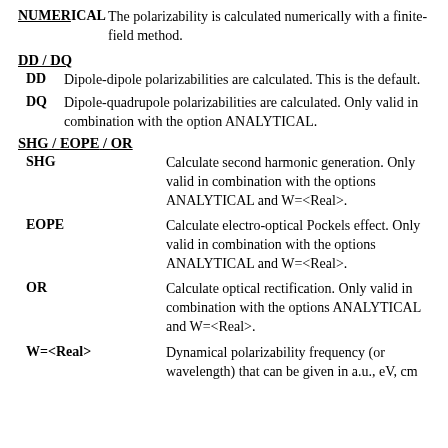NUMERICAL  The polarizability is calculated numerically with a finite-field method.
DD / DQ
DD  Dipole-dipole polarizabilities are calculated. This is the default.
DQ  Dipole-quadrupole polarizabilities are calculated. Only valid in combination with the option ANALYTICAL.
SHG / EOPE / OR
SHG  Calculate second harmonic generation. Only valid in combination with the options ANALYTICAL and W=<Real>.
EOPE  Calculate electro-optical Pockels effect. Only valid in combination with the options ANALYTICAL and W=<Real>.
OR  Calculate optical rectification. Only valid in combination with the options ANALYTICAL and W=<Real>.
W=<Real>  Dynamical polarizability frequency (or wavelength) that can be given in a.u., eV, cm